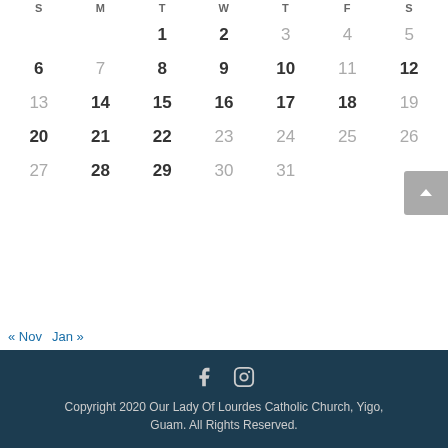| S | M | T | W | T | F | S |
| --- | --- | --- | --- | --- | --- | --- |
|  |  | 1 | 2 | 3 | 4 | 5 |
| 6 | 7 | 8 | 9 | 10 | 11 | 12 |
| 13 | 14 | 15 | 16 | 17 | 18 | 19 |
| 20 | 21 | 22 | 23 | 24 | 25 | 26 |
| 27 | 28 | 29 | 30 | 31 |  |  |
« Nov   Jan »
Copyright 2020 Our Lady Of Lourdes Catholic Church, Yigo, Guam. All Rights Reserved.